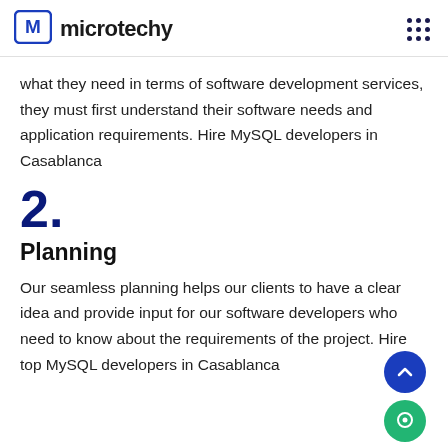microtechy
what they need in terms of software development services, they must first understand their software needs and application requirements. Hire MySQL developers in Casablanca
2.
Planning
Our seamless planning helps our clients to have a clear idea and provide input for our software developers who need to know about the requirements of the project. Hire top MySQL developers in Casablanca